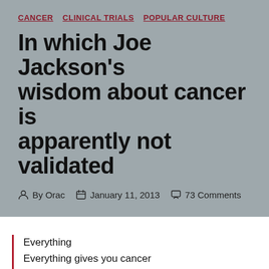CANCER  CLINICAL TRIALS  POPULAR CULTURE
In which Joe Jackson's wisdom about cancer is apparently not validated
By Orac  January 11, 2013  73 Comments
Everything
Everything gives you cancer
Everything
Everything gives you cancer
There's no cure, there's no answer